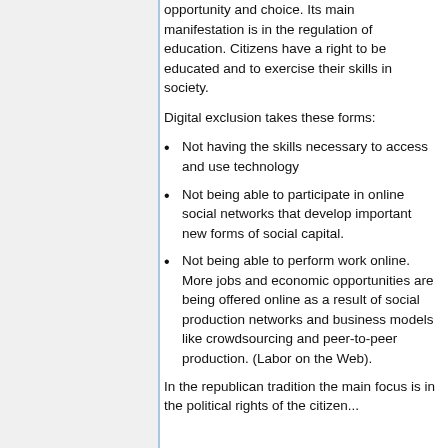opportunity and choice. Its main manifestation is in the regulation of education. Citizens have a right to be educated and to exercise their skills in society.
Digital exclusion takes these forms:
Not having the skills necessary to access and use technology
Not being able to participate in online social networks that develop important new forms of social capital.
Not being able to perform work online. More jobs and economic opportunities are being offered online as a result of social production networks and business models like crowdsourcing and peer-to-peer production. (Labor on the Web).
In the republican tradition the main focus is in the political rights of the citizen...